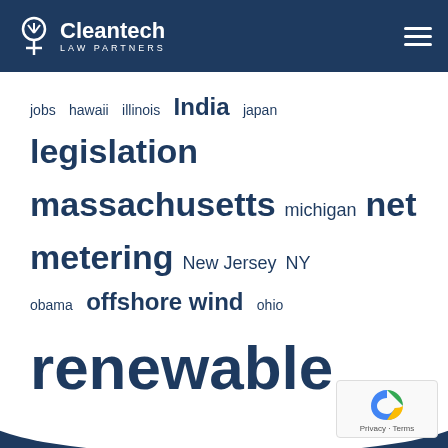[Figure (logo): Cleantech Law Partners logo with tree/leaf icon in white on dark blue header]
[Figure (infographic): Tag cloud / word cloud with cleantech-related terms in varying sizes, color dark navy blue on white background. Terms include: jobs, hawaii, illinois, India, japan, legislation, massachusetts, michigan, net metering, New Jersey, NY, obama, offshore wind, ohio, renewable energy, renewable energy policy, renewables, rooftop, solar, rps, solar energy, solar power, UK, usa, utility, wind, wind energy, wind power]
[Figure (other): reCAPTCHA widget with Privacy and Terms links at bottom right]